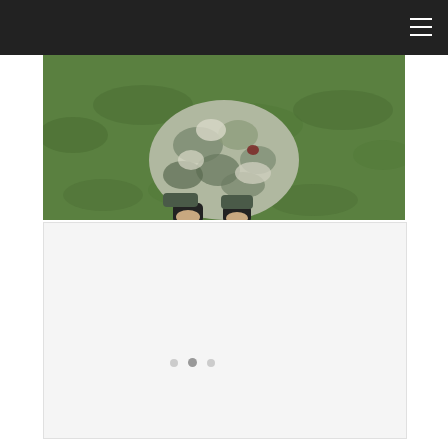[Figure (photo): A child wearing a camouflage hoodie and black pants, crouching or sitting on green grass. The photo is cropped showing mainly the torso and hands against a bright green lawn background.]
[Figure (photo): White/light card area with three pagination dots visible, part of a photo slideshow or gallery widget on a webpage.]
[Figure (infographic): UI overlay elements: a teal heart/like button showing count of 3, an orange share panel with a white share icon circle, and a 'WHAT'S NEXT' recommendation panel showing a thumbnail and text 'Knit Crate and Lion Brand...']